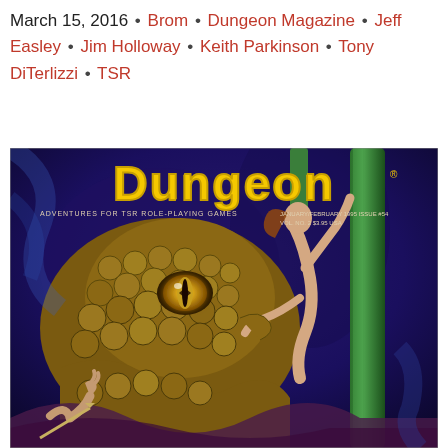March 15, 2016 • Brom • Dungeon Magazine • Jeff Easley • Jim Holloway • Keith Parkinson • Tony DiTerlizzi • TSR
[Figure (illustration): Cover of Dungeon Magazine (Adventures for TSR Role-Playing Games), January/February 1995, Issue #54, Vol. No. 2, $3.95 USA. Features fantasy illustration of a large scaly creature/monster with a glowing eye confronting a female figure being grabbed, with another figure at bottom, set in a dark blue underwater or cave environment with green columns.]